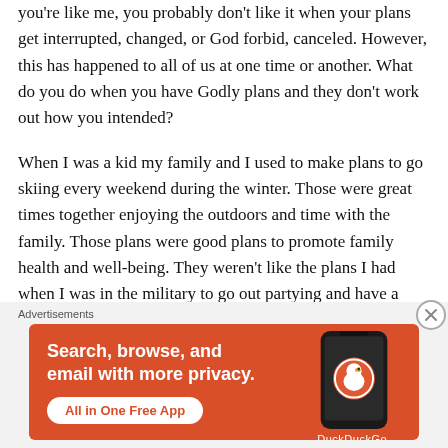you're like me, you probably don't like it when your plans get interrupted, changed, or God forbid, canceled. However, this has happened to all of us at one time or another. What do you do when you have Godly plans and they don't work out how you intended?
When I was a kid my family and I used to make plans to go skiing every weekend during the winter. Those were great times together enjoying the outdoors and time with the family. Those plans were good plans to promote family health and well-being. They weren't like the plans I had when I was in the military to go out partying and have a good time with the other soldiers of the company...
[Figure (infographic): DuckDuckGo advertisement banner with orange background. Text reads: 'Search, browse, and email with more privacy. All in One Free App'. Shows a smartphone with DuckDuckGo logo.]